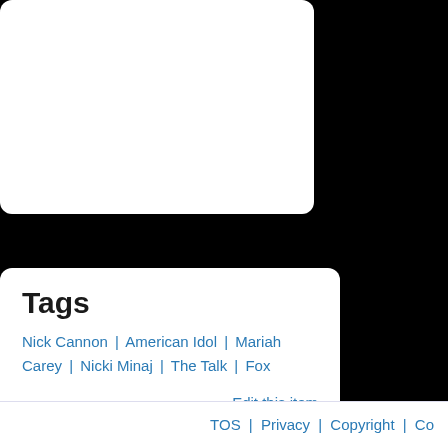[Figure (other): White rounded card, partially visible at top of page]
Tags
Nick Cannon | American Idol | Mariah Carey | Nicki Minaj | The Talk | Fox
Edit this item
[Figure (other): Download banner with stylized eye logo and orange DOWNLOAD button with green arrow icon]
TOS | Privacy | Copyright | Co...